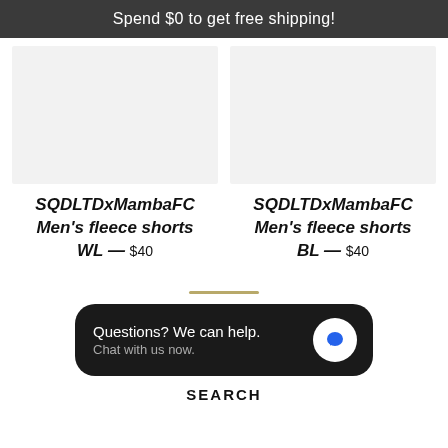Spend $0 to get free shipping!
[Figure (photo): Left product image placeholder — light gray rectangle]
SQDLTDxMambaFC Men's fleece shorts WL — $40
[Figure (photo): Right product image placeholder — light gray rectangle]
SQDLTDxMambaFC Men's fleece shorts BL — $40
[Figure (infographic): Chat widget: 'Questions? We can help. Chat with us now.' with blue chat bubble icon on dark rounded background]
SEARCH